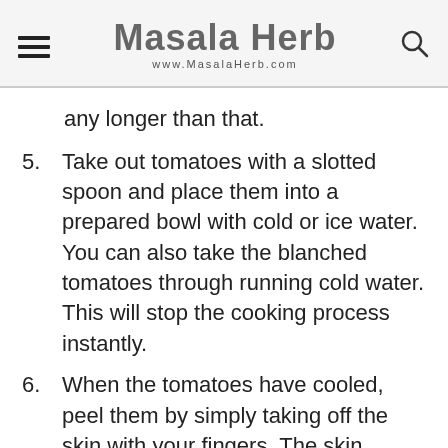Masala Herb — www.MasalaHerb.com
any longer than that.
5. Take out tomatoes with a slotted spoon and place them into a prepared bowl with cold or ice water. You can also take the blanched tomatoes through running cold water. This will stop the cooking process instantly.
6. When the tomatoes have cooled, peel them by simply taking off the skin with your fingers. The skin should go off easily.
7. Use tomatoes in your food...